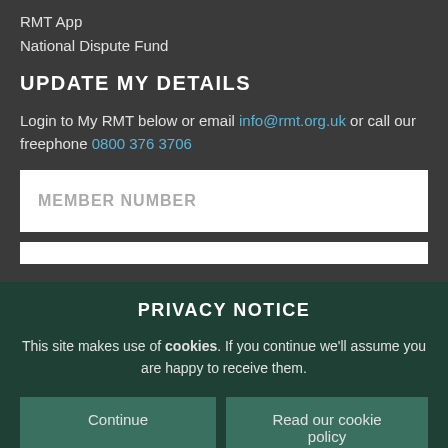RMT App
National Dispute Fund
UPDATE MY DETAILS
Login to My RMT below or email info@rmt.org.uk or call our freephone 0800 376 3706
MEMBER NUMBER (input field)
(password input field)
PRIVACY NOTICE
This site makes use of cookies. If you continue we'll assume you are happy to receive them.
Continue | Read our cookie policy